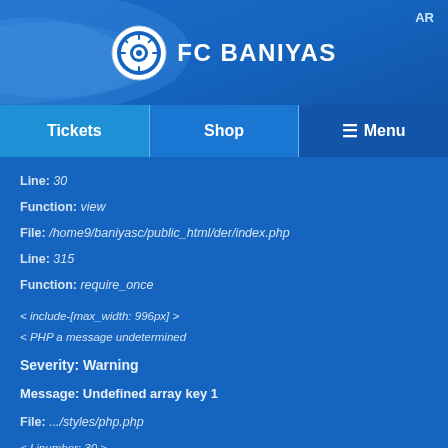[Figure (logo): FC Baniyas football club logo - circular emblem with white and blue design, alongside text FC BANIYAS in white bold letters]
AR
Tickets | Shop | ☰ Menu
Line: 30
Function: view
File: /home9/baniyasc/public_html/der/index.php
Line: 315
Function: require_once

< include-[max_width: 996px] >
< PHP a message undetermined

Severity: Warning

Message: Undefined array key 1

File: .../styles/php.php

< Linumber: 30 >

ca trace: }